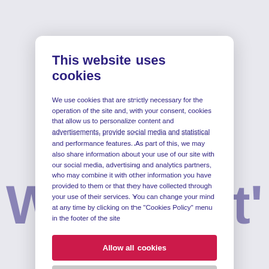This website uses cookies
We use cookies that are strictly necessary for the operation of the site and, with your consent, cookies that allow us to personalize content and advertisements, provide social media and statistical and performance features. As part of this, we may also share information about your use of our site with our social media, advertising and analytics partners, who may combine it with other information you have provided to them or that they have collected through your use of their services. You can change your mind at any time by clicking on the "Cookies Policy" menu in the footer of the site
Allow all cookies
Allow selection
Use necessary cookies only
| Necessary | Preferences | Show details |
| --- | --- | --- |
| Statistics | Marketing |  |